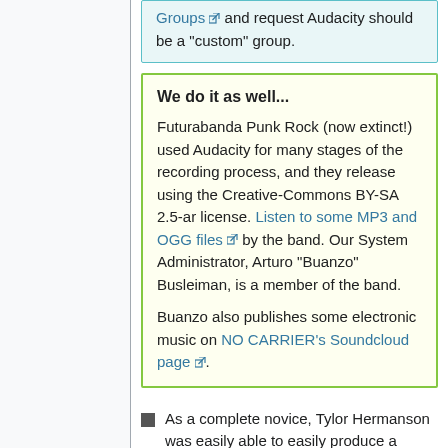Groups and request Audacity should be a "custom" group.
We do it as well...
Futurabanda Punk Rock (now extinct!) used Audacity for many stages of the recording process, and they release using the Creative-Commons BY-SA 2.5-ar license. Listen to some MP3 and OGG files by the band. Our System Administrator, Arturo "Buanzo" Busleiman, is a member of the band.
Buanzo also publishes some electronic music on NO CARRIER's Soundcloud page.
As a complete novice, Tylor Hermanson was easily able to easily produce a couple of songs using Audacity, called Which SEO Hero and SEO Rap (not Provided).
On http://dj.elskwi.org/ I use Audacity on Linux to clean samples and mixes of techno music. I use it to eliminate audible noise, normalize, remove DC offset and